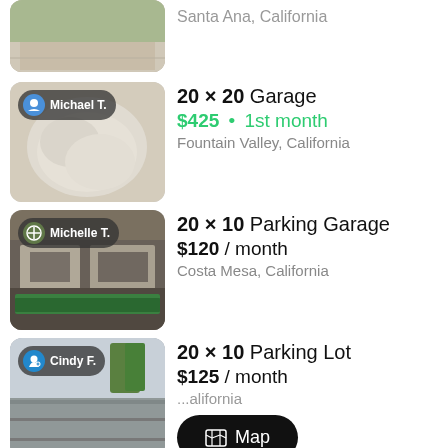[Figure (photo): Partial top of a listing showing a driveway/sidewalk photo, cropped at the top]
Santa Ana, California
[Figure (photo): Michael T. listing: garage interior with white fluffy surface, badge with user icon]
20 × 20 Garage
$425 • 1st month
Fountain Valley, California
[Figure (photo): Michelle T. listing: parking garage exterior with plants, badge with parking icon]
20 × 10 Parking Garage
$120 / month
Costa Mesa, California
[Figure (photo): Cindy F. listing: parking lot exterior with trees, badge with user icon]
20 × 10 Parking Lot
$125 / month
...alifornia
Map